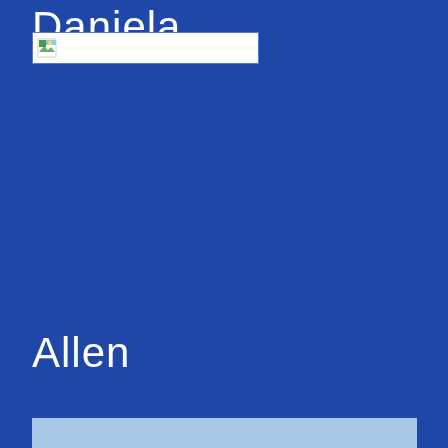Daniela
[Figure (other): Broken/missing image placeholder with white background and blue border, containing a small broken image icon]
Allen
[Figure (other): Light blue horizontal bar at the bottom of the page]